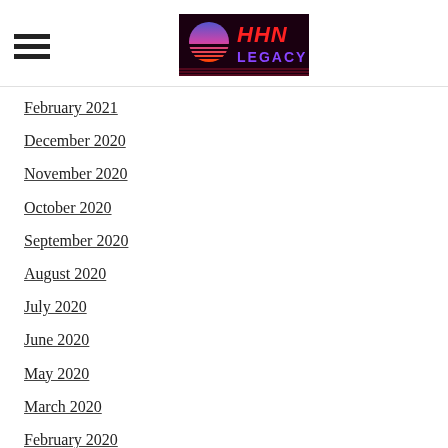HHN Legacy (logo)
February 2021
December 2020
November 2020
October 2020
September 2020
August 2020
July 2020
June 2020
May 2020
March 2020
February 2020
December 2019
November 2019
October 2019